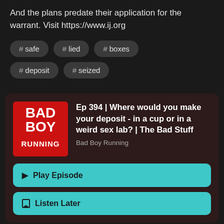And the plans predate their application for the warrant. Visit https://www.ij.org
# safe
# lied
# boxes
# deposit
# seized
[Figure (logo): Bad Boy Running podcast logo - red background with white bold text reading BAD BOY RUNNING]
Ep 394 | Where would you make your deposit - in a cup or in a weird sex lab? | The Bad Stuff
Bad Boy Running
► Play Episode
Listen Later